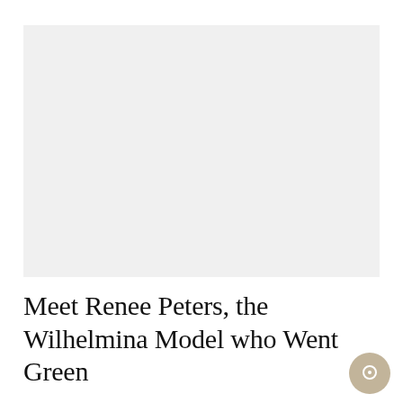[Figure (photo): Empty light gray rectangular placeholder image area]
Meet Renee Peters, the Wilhelmina Model who Went Green